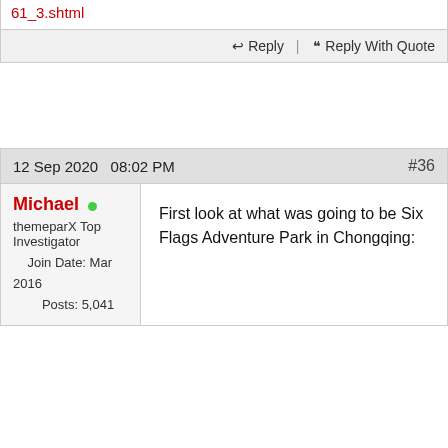61_3.shtml
Reply | Reply With Quote
12 Sep 2020   08:02 PM   #36
Michael
themeparX Top Investigator
Join Date: Mar 2016
Posts: 5,041
First look at what was going to be Six Flags Adventure Park in Chongqing: